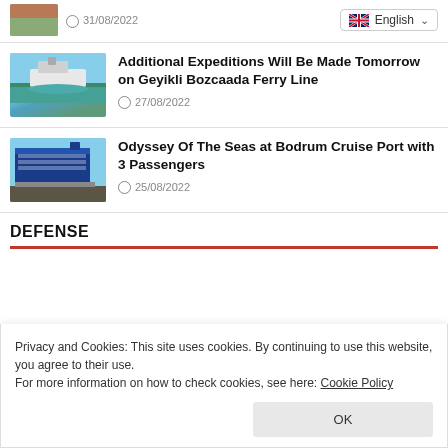[Figure (photo): Small thumbnail of a colorful scene, partial view at top left]
31/08/2022
English (language selector dropdown)
[Figure (photo): Ferry boat on blue sea with sky background]
Additional Expeditions Will Be Made Tomorrow on Geyikli Bozcaada Ferry Line
27/08/2022
[Figure (photo): Large cruise ship at port with passengers on dock]
Odyssey Of The Seas at Bodrum Cruise Port with 3 Passengers
25/08/2022
DEFENSE
Privacy and Cookies: This site uses cookies. By continuing to use this website, you agree to their use.
For more information on how to check cookies, see here: Cookie Policy
OK
Otokar Exhibits Cobra II Vehicle at APEX 2022